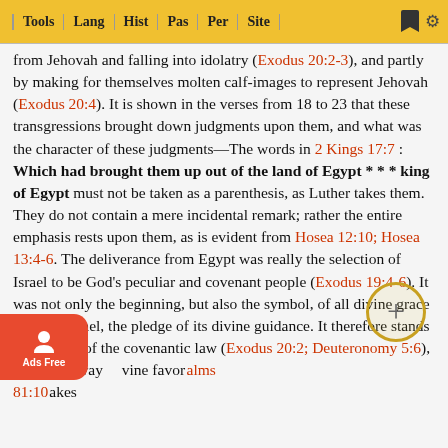Tools | Lang | Hist | Pas | Per | Site
from Jehovah and falling into idolatry (Exodus 20:2-3), and partly by making for themselves molten calf-images to represent Jehovah (Exodus 20:4). It is shown in the verses from 18 to 23 that these transgressions brought down judgments upon them, and what was the character of these judgments—The words in 2 Kings 17:7 : Which had brought them up out of the land of Egypt * * * king of Egypt must not be taken as a parenthesis, as Luther takes them. They do not contain a mere incidental remark; rather the entire emphasis rests upon them, as is evident from Hosea 12:10; Hosea 13:4-6. The deliverance from Egypt was really the selection of Israel to be God's peculiar and covenant people (Exodus 19:4-6). It was not only the beginning, but also the symbol, of all divine grace towards Israel, the pledge of its divine guidance. It therefore stands at the head of the covenantic law (Exodus 20:2; Deuteronomy 5:6), and it is always recalled to mind from the standpoint of the divine favour, (Psalms 81:10 makes